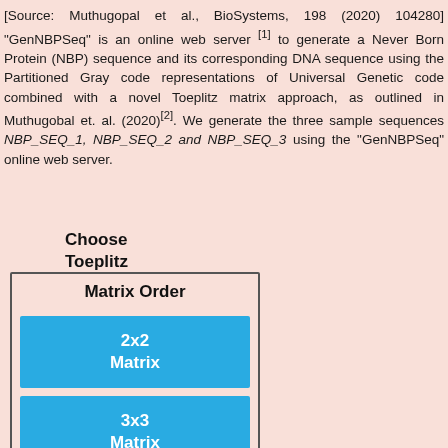[Source: Muthugopal et al., BioSystems, 198 (2020) 104280] "GenNBPSeq" is an online web server [1] to generate a Never Born Protein (NBP) sequence and its corresponding DNA sequence using the Partitioned Gray code representations of Universal Genetic code combined with a novel Toeplitz matrix approach, as outlined in Muthugobal et. al. (2020)[2]. We generate the three sample sequences NBP_SEQ_1, NBP_SEQ_2 and NBP_SEQ_3 using the "GenNBPSeq" online web server.
[Figure (screenshot): A UI widget showing a dropdown/menu labeled 'Choose Toeplitz Matrix Order' with a bordered box containing options: '2x2 Matrix' (blue button), '3x3 Matrix' (blue button), and a partially visible '4x4' button at the bottom.]